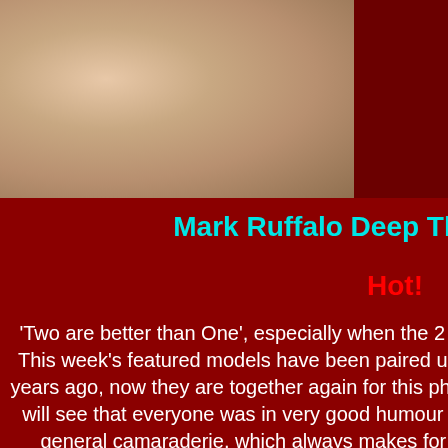[Figure (photo): Close-up photo of persons legs and hands against a light background, cropped at top]
Mark Ruffalo Deep Throats Jack !
Hot!
'Two are better than One', especially when the 2 are Jack Harrer and Marc Ruffalo. This week's featured models have been paired up once before in a scene a couple of years ago, now they are together again for this photo shoot and video. In the video you will see that everyone was in very good humour for this shoot, with lots of joking and general camaraderie, which always makes for a good photo shoot. Regulars will recognise the